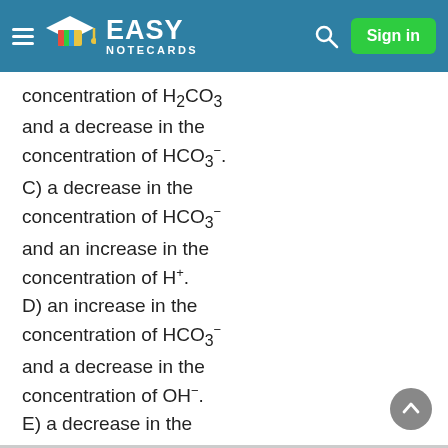Easy Notecards — Sign in
concentration of H₂CO₃ and a decrease in the concentration of HCO₃⁻. C) a decrease in the concentration of HCO₃⁻ and an increase in the concentration of H⁺. D) an increase in the concentration of HCO₃⁻ and a decrease in the concentration of OH⁻. E) a decrease in the concentration of HCO₃⁻ and an increase in the concentration of both HH₂CO₃ and H⁺.